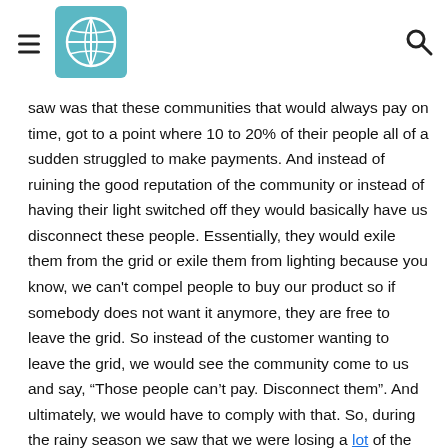[hamburger menu] [globe logo] [search icon]
saw was that these communities that would always pay on time, got to a point where 10 to 20% of their people all of a sudden struggled to make payments. And instead of ruining the good reputation of the community or instead of having their light switched off they would basically have us disconnect these people. Essentially, they would exile them from the grid or exile them from lighting because you know, we can't compel people to buy our product so if somebody does not want it anymore, they are free to leave the grid. So instead of the customer wanting to leave the grid, we would see the community come to us and say, “Those people can’t pay. Disconnect them”. And ultimately, we would have to comply with that. So, during the rainy season we saw that we were losing a lot of the most vulnerable customers, but that they would